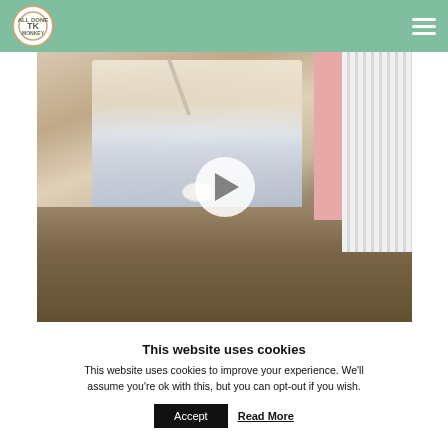Navigation bar with logo and hamburger menu
[Figure (photo): A child eating from a bowl at a marble/granite counter or table in what appears to be a restaurant. The child is wearing a white t-shirt with a shark graphic and holding a spoon up. In the background there is a pink column and white decorative fence/railing. A play button is overlaid on the center of the image indicating this is a video thumbnail.]
This website uses cookies
This website uses cookies to improve your experience. We'll assume you're ok with this, but you can opt-out if you wish.
Accept   Read More